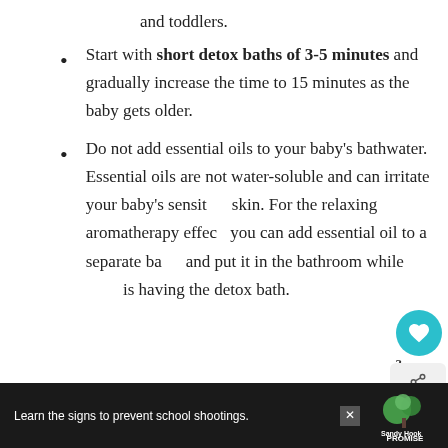and toddlers.
Start with short detox baths of 3-5 minutes and gradually increase the time to 15 minutes as the baby gets older.
Do not add essential oils to your baby's bathwater. Essential oils are not water-soluble and can irritate your baby's sensitive skin. For the relaxing aromatherapy effect, you can add essential oil to a separate basin and put it in the bathroom while the baby is having the detox bath.
Learn the signs to prevent school shootings.